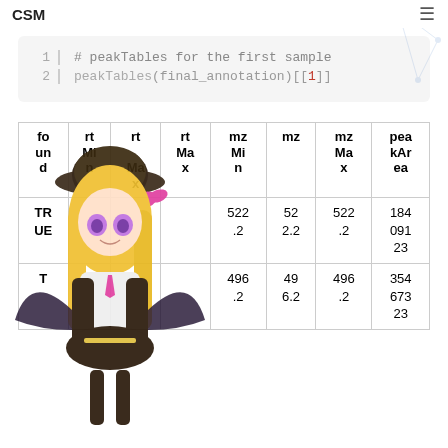CSM
# peakTables for the first sample
peakTables(final_annotation)[[1]]
| found | rtMin | rtMax | rtMin | mzMin | mz | mzMax | peakArea |
| --- | --- | --- | --- | --- | --- | --- | --- |
| TRUE |  |  |  | 522.2 | 52 2.2 | 522.2 | 184 091 23 |
| T... |  |  |  | 496.2 | 49 6.2 | 496.2 | 354 673 23 |